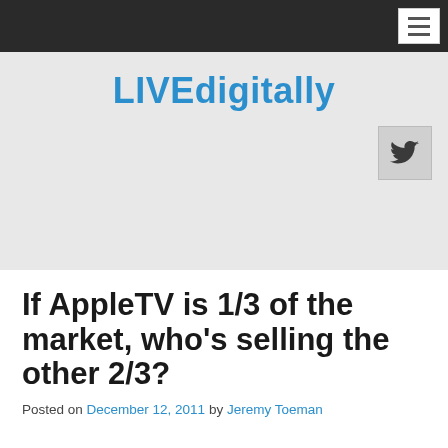LIVEdigitally
[Figure (other): Twitter bird icon button]
If AppleTV is 1/3 of the market, who's selling the other 2/3?
Posted on December 12, 2011 by Jeremy Toeman